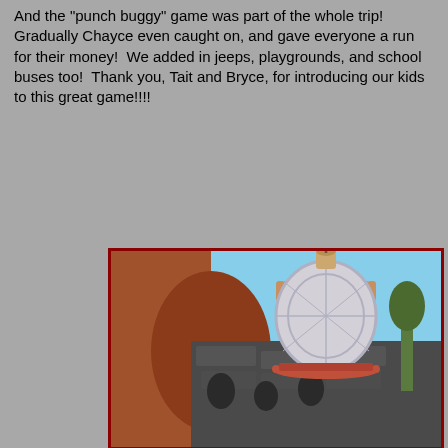And the "punch buggy" game was part of the whole trip!  Gradually Chayce even caught on, and gave everyone a run for their money!  We added in jeeps, playgrounds, and school buses too!  Thank you, Tait and Bryce, for introducing our kids to this great game!!!!
[Figure (photo): Upward view of a historic church dome with ornate baroque architecture, red/pink decorative elements and blue/white dome tiles, with dark stone walls below, viewed from a courtyard.]
[Figure (photo): Upward view of a multi-story pink/salmon colored historic building with ornate cornices, balconies with iron railings, blue awnings, and columns.]